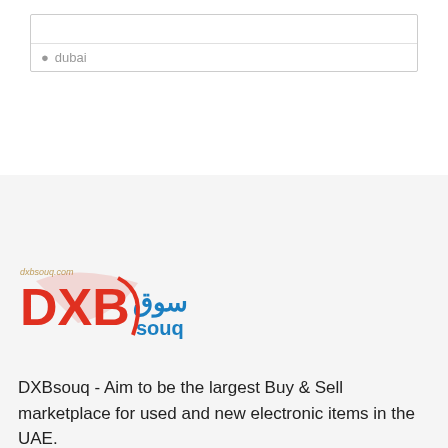[Figure (screenshot): Search box with location field showing 'dubai' with a pin icon]
[Figure (logo): DXBsouq.com logo with red DXB text and blue Arabic/English souq text]
DXBsouq - Aim to be the largest Buy & Sell marketplace for used and new electronic items in the UAE.
[Figure (screenshot): Google Play and App Store download buttons]
Weekly Newsletter